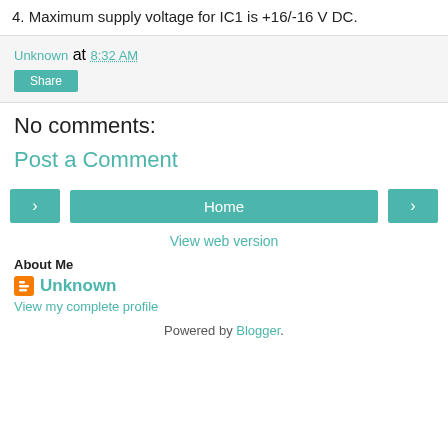4. Maximum supply voltage for IC1 is +16/-16 V DC.
Unknown at 8:32 AM
Share
No comments:
Post a Comment
‹  Home  ›
View web version
About Me
Unknown
View my complete profile
Powered by Blogger.